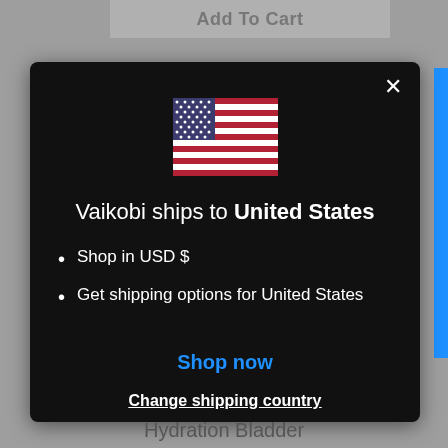Add To Cart
[Figure (illustration): US flag emoji icon]
Vaikobi ships to United States
Shop in USD $
Get shipping options for United States
Shop now
Change shipping country
Hydration Bladder